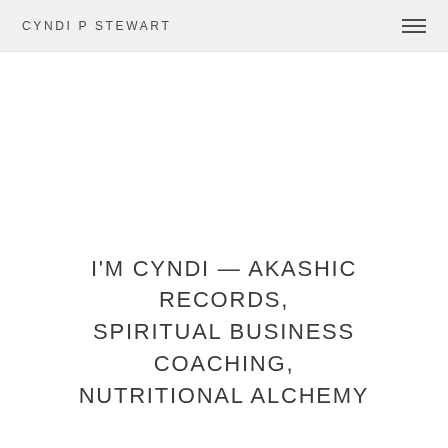CYNDI P STEWART
I'M CYNDI — AKASHIC RECORDS, SPIRITUAL BUSINESS COACHING, NUTRITIONAL ALCHEMY